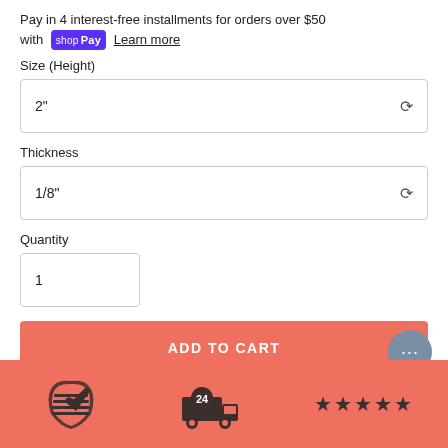Pay in 4 interest-free installments for orders over $50 with shop Pay Learn more
Size (Height)
2"
Thickness
1/8"
Quantity
1
ADD TO CART
[Figure (infographic): Banner with USA map icon, 24-hour delivery truck icon, and 5 stars rating icons on coral/salmon background]